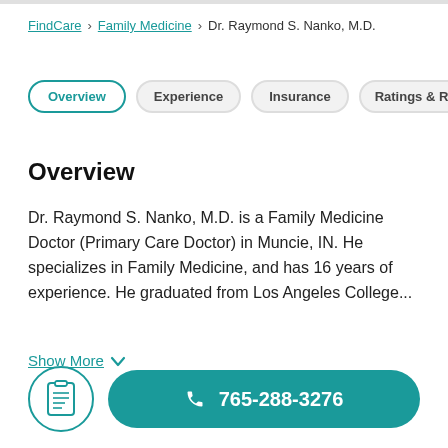FindCare › Family Medicine › Dr. Raymond S. Nanko, M.D.
Overview
Experience
Insurance
Ratings & Reviews
Overview
Dr. Raymond S. Nanko, M.D. is a Family Medicine Doctor (Primary Care Doctor) in Muncie, IN. He specializes in Family Medicine, and has 16 years of experience. He graduated from Los Angeles College...
Show More
765-288-3276